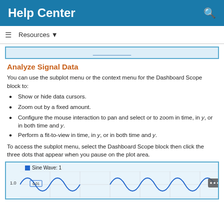Help Center
Resources ▼
[Figure (screenshot): Partial blue link box, truncated text visible]
Analyze Signal Data
You can use the subplot menu or the context menu for the Dashboard Scope block to:
Show or hide data cursors.
Zoom out by a fixed amount.
Configure the mouse interaction to pan and select or to zoom in time, in y, or in both time and y.
Perform a fit-to-view in time, in y, or in both time and y.
To access the subplot menu, select the Dashboard Scope block then click the three dots that appear when you pause on the plot area.
[Figure (screenshot): Dashboard Scope block showing a sine wave plot with legend 'Sine Wave: 1', y-axis value 1.0, and three-dot menu button visible]